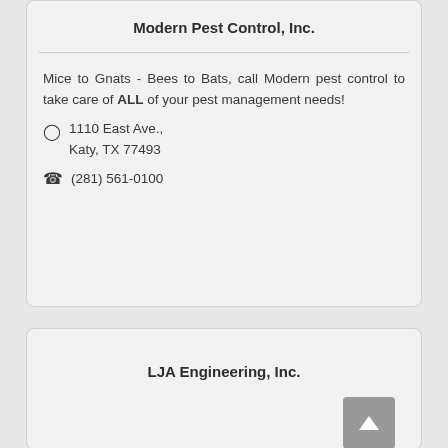Modern Pest Control, Inc.
Mice to Gnats - Bees to Bats, call Modern pest control to take care of ALL of your pest management needs!
1110 East Ave., Katy, TX 77493
(281) 561-0100
LJA Engineering, Inc.